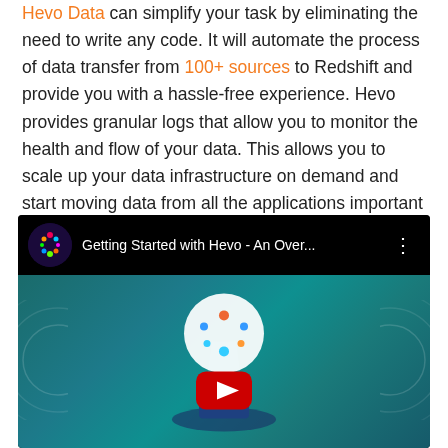Hevo Data can simplify your task by eliminating the need to write any code. It will automate the process of data transfer from 100+ sources to Redshift and provide you with a hassle-free experience. Hevo provides granular logs that allow you to monitor the health and flow of your data. This allows you to scale up your data infrastructure on demand and start moving data from all the applications important for your business.
[Figure (screenshot): YouTube video thumbnail for 'Getting Started with Hevo - An Over...' with Hevo logo in top left, three-dot menu at top right, and a play button over a teal/gradient background with a 3D globe-on-pedestal graphic]